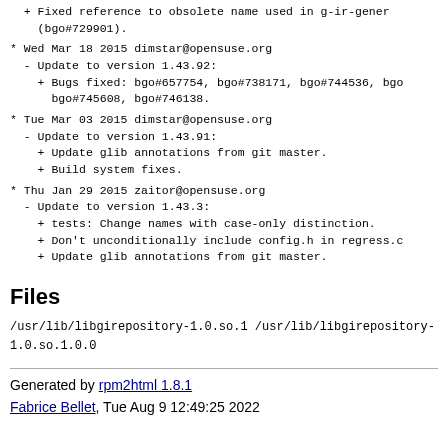+ Fixed reference to obsolete name used in g-ir-gener (bgo#729901).
* Wed Mar 18 2015 dimstar@opensuse.org
  - Update to version 1.43.92:
    + Bugs fixed: bgo#657754, bgo#738171, bgo#744536, bgo bgo#745608, bgo#746138.
* Tue Mar 03 2015 dimstar@opensuse.org
  - Update to version 1.43.91:
    + Update glib annotations from git master.
    + Build system fixes.
* Thu Jan 29 2015 zaitor@opensuse.org
  - Update to version 1.43.3:
    + tests: Change names with case-only distinction.
    + Don't unconditionally include config.h in regress.c
    + Update glib annotations from git master.
Files
/usr/lib/libgirepository-1.0.so.1
/usr/lib/libgirepository-1.0.so.1.0.0
Generated by rpm2html 1.8.1
Fabrice Bellet, Tue Aug 9 12:49:25 2022